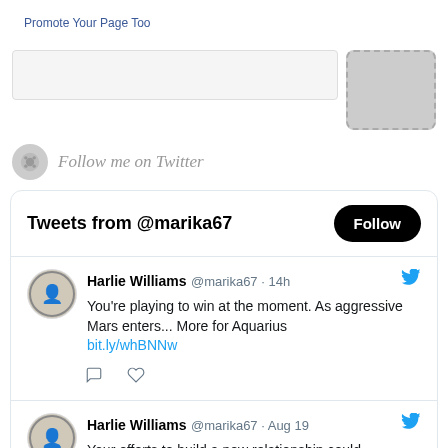Promote Your Page Too
[Figure (screenshot): Search input bar with image placeholder area]
Follow me on Twitter
[Figure (screenshot): Twitter widget showing Tweets from @marika67 with Follow button and two tweet items from Harlie Williams]